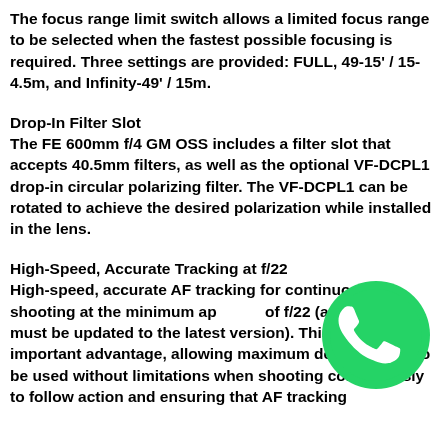The focus range limit switch allows a limited focus range to be selected when the fastest possible focusing is required. Three settings are provided: FULL, 49-15' / 15-4.5m, and Infinity-49' / 15m.
Drop-In Filter Slot
The FE 600mm f/4 GM OSS includes a filter slot that accepts 40.5mm filters, as well as the optional VF-DCPL1 drop-in circular polarizing filter. The VF-DCPL1 can be rotated to achieve the desired polarization while installed in the lens.
High-Speed, Accurate Tracking at f/22
High-speed, accurate AF tracking for continuous shooting at the minimum aperture of f/22 (a9 software must be updated to the latest version). This is an important advantage, allowing maximum depth of field to be used without limitations when shooting continuously to follow action and ensuring that AF tracking
[Figure (logo): WhatsApp logo — green circle with white phone handset icon]